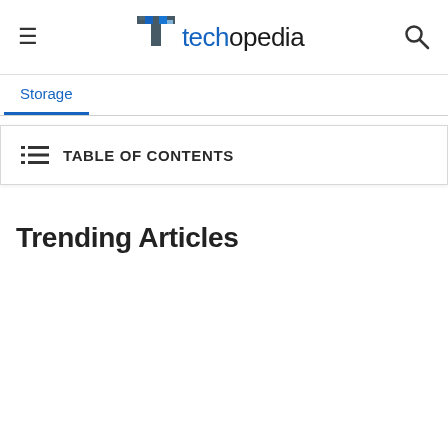techopedia — navigation bar with hamburger menu and search icon
Storage
TABLE OF CONTENTS
Trending Articles